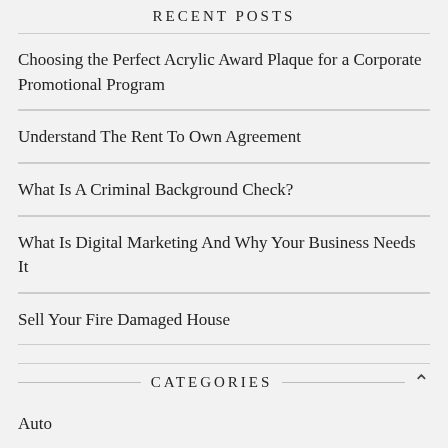RECENT POSTS
Choosing the Perfect Acrylic Award Plaque for a Corporate Promotional Program
Understand The Rent To Own Agreement
What Is A Criminal Background Check?
What Is Digital Marketing And Why Your Business Needs It
Sell Your Fire Damaged House
CATEGORIES
Auto